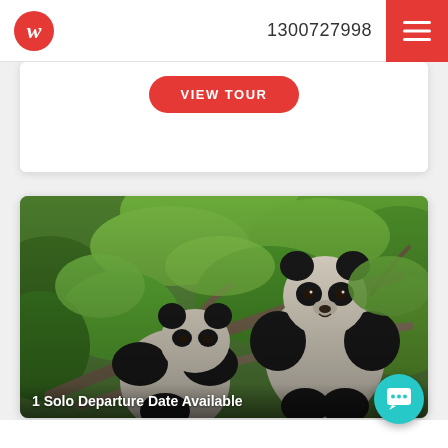w  1300727998
[Figure (screenshot): Partially visible red 'View Tour' button on a white card]
[Figure (photo): Two giant pandas climbing and playing in trees among green leaves. Overlaid text reads '1 Solo Departure Date Available']
1 Solo Departure Date Available